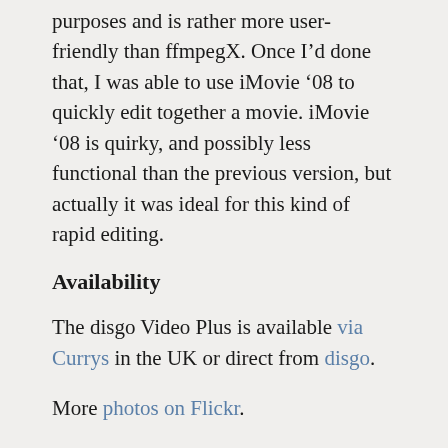purposes and is rather more user-friendly than ffmpegX. Once I'd done that, I was able to use iMovie '08 to quickly edit together a movie. iMovie '08 is quirky, and possibly less functional than the previous version, but actually it was ideal for this kind of rapid editing.
Availability
The disgo Video Plus is available via Currys in the UK or direct from disgo.
More photos on Flickr.